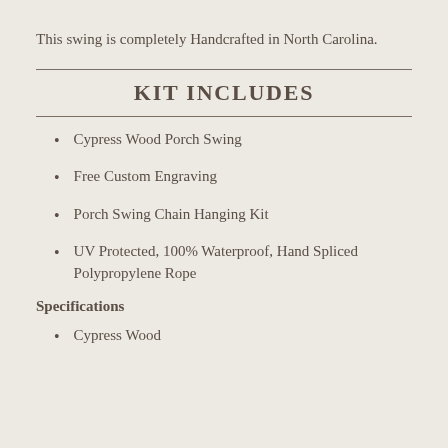This swing is completely Handcrafted in North Carolina.
KIT INCLUDES
Cypress Wood Porch Swing
Free Custom Engraving
Porch Swing Chain Hanging Kit
UV Protected, 100% Waterproof, Hand Spliced Polypropylene Rope
Specifications
Cypress Wood